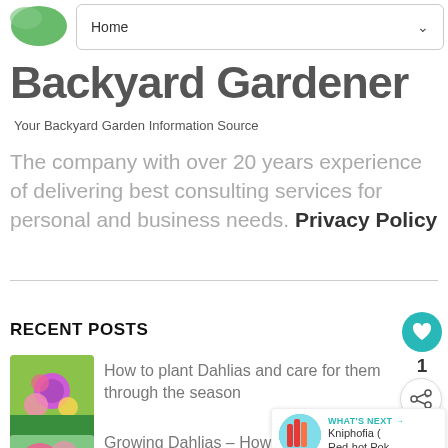Home
Backyard Gardener
Your Backyard Garden Information Source
The company with over 20 years experience of delivering best consulting services for personal and business needs. Privacy Policy
RECENT POSTS
[Figure (photo): Photo of colorful dahlia flowers]
How to plant Dahlias and care for them through the season
[Figure (photo): Photo of pink dahlia flower]
Growing Dahlias – How to care from Spring to Fall
[Figure (photo): What's Next thumbnail - Kniphofia (Red-hot Pok...)]